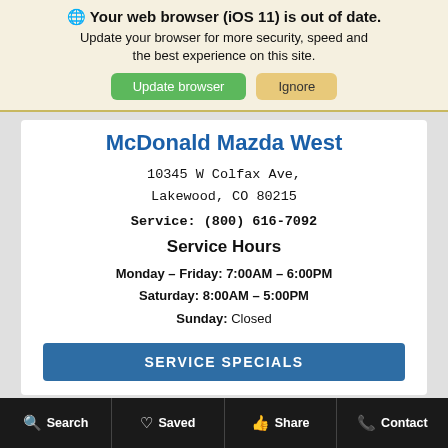🌐 Your web browser (iOS 11) is out of date. Update your browser for more security, speed and the best experience on this site.
Update browser | Ignore
McDonald Mazda West
10345 W Colfax Ave, Lakewood, CO 80215
Service: (800) 616-7092
Service Hours
Monday – Friday: 7:00AM – 6:00PM
Saturday: 8:00AM – 5:00PM
Sunday: Closed
SERVICE SPECIALS
Search   Saved   Share   Contact